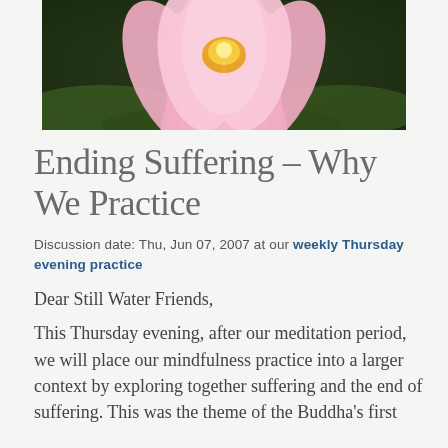[Figure (photo): Close-up photograph of a pink lotus flower in bloom, with green foliage in the background.]
Ending Suffering – Why We Practice
Discussion date: Thu, Jun 07, 2007 at our weekly Thursday evening practice
Dear Still Water Friends,
This Thursday evening, after our meditation period, we will place our mindfulness practice into a larger context by exploring together suffering and the end of suffering. This was the theme of the Buddha's first